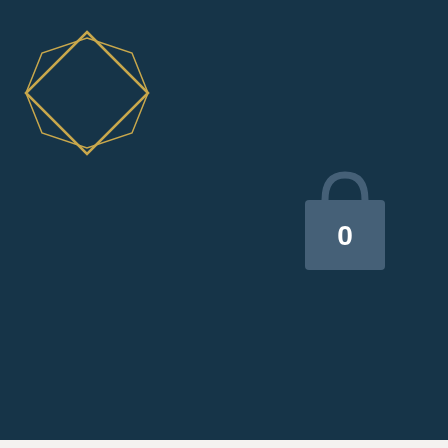[Figure (screenshot): Dark navy navigation bar with a gold diamond/octagon logo on the left, hamburger menu icon (three white lines) on the right, and a shopping bag icon with '0' in the center. This is a website mobile navigation overlay partially covering the page.]
your
he
ave to
rent
out
you
and
ting all
hat.
Noelle: Yeah.
Miranda: Then really how is this information affecting me when I'm reading it on social media or the news outlets or whatever, so, yeah. Alright, two more left each.
Noelle: Federal prosecutors are branding non-violent, January 6 defendants as quote terrorists to pursue harsher sentences.
Miranda: Say them again. I believe in you that you can do this one. Let's say it again.